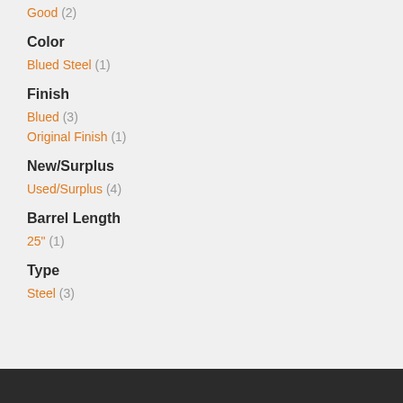Good (2)
Color
Blued Steel (1)
Finish
Blued (3)
Original Finish (1)
New/Surplus
Used/Surplus (4)
Barrel Length
25" (1)
Type
Steel (3)